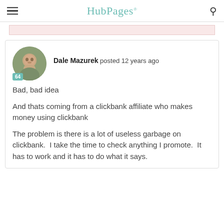HubPages
[Figure (other): Pink advertisement bar placeholder]
Dale Mazurek posted 12 years ago
Bad, bad idea
And thats coming from a clickbank affiliate who makes money using clickbank
The problem is there is a lot of useless garbage on clickbank.  I take the time to check anything I promote.  It has to work and it has to do what it says.